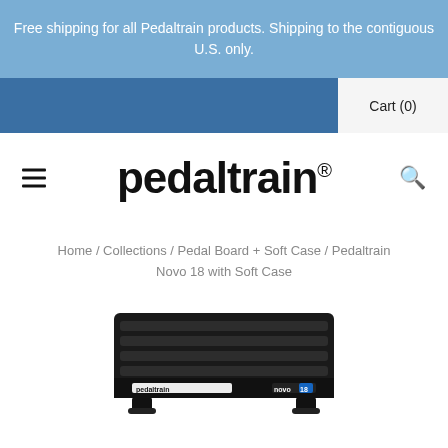Free shipping for all Pedaltrain products. Shipping to the contiguous U.S. only.
Cart (0)
[Figure (logo): Pedaltrain logo in bold black sans-serif font with registered trademark symbol]
Home / Collections / Pedal Board + Soft Case / Pedaltrain Novo 18 with Soft Case
[Figure (photo): Pedaltrain Novo 18 pedalboard with soft case - a black rectangular pedalboard with rails, showing pedaltrain branding and novo 18 label on the front]